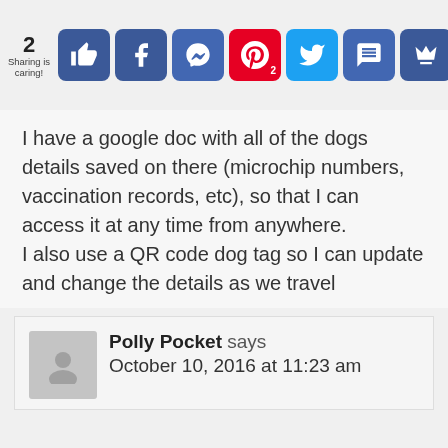[Figure (screenshot): Social sharing bar with icons: like/thumbs up (blue), Facebook (dark blue), Messenger (dark blue), Pinterest (red, badge '2'), Twitter (light blue), SMS (dark blue), crown/email (dark blue). Share count '2' and 'Sharing is caring!' label on left.]
I have a google doc with all of the dogs details saved on there (microchip numbers, vaccination records, etc), so that I can access it at any time from anywhere.
I also use a QR code dog tag so I can update and change the details as we travel
Polly Pocket says
October 10, 2016 at 11:23 am